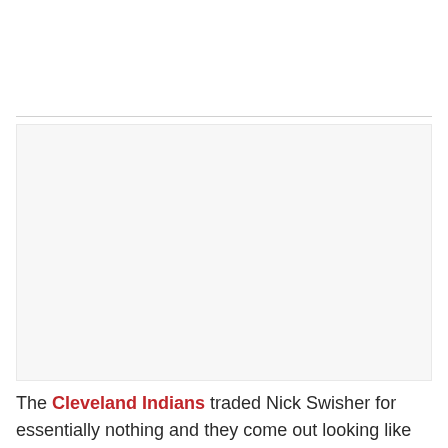[Figure (photo): Image placeholder area, light gray background]
The Cleveland Indians traded Nick Swisher for essentially nothing and they come out looking like the